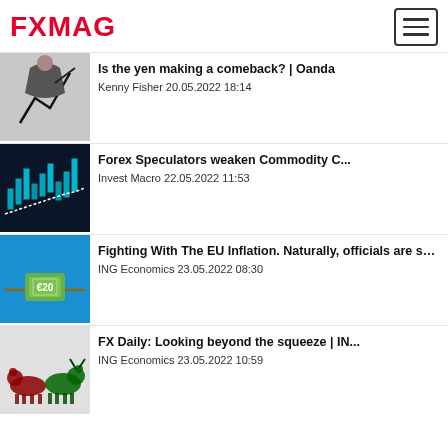FXMAG
Is the yen making a comeback? | Oanda
Kenny Fisher 20.05.2022 18:14
Forex Speculators weaken Commodity C...
Invest Macro 22.05.2022 11:53
Fighting With The EU Inflation. Naturally, officials are suddenly concerned about th...
ING Economics 23.05.2022 08:30
FX Daily: Looking beyond the squeeze | IN...
ING Economics 23.05.2022 10:59